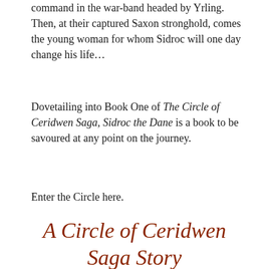command in the war-band headed by Yrling. Then, at their captured Saxon stronghold, comes the young woman for whom Sidroc will one day change his life…
Dovetailing into Book One of The Circle of Ceridwen Saga, Sidroc the Dane is a book to be savoured at any point on the journey.
Enter the Circle here.
A Circle of Ceridwen Saga Story
Over 2000 Amazon Five